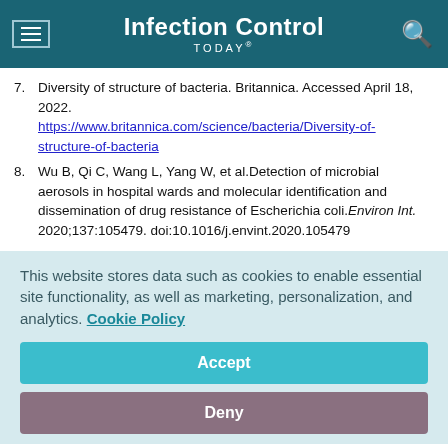Infection Control TODAY®
7. Diversity of structure of bacteria. Britannica. Accessed April 18, 2022. https://www.britannica.com/science/bacteria/Diversity-of-structure-of-bacteria
8. Wu B, Qi C, Wang L, Yang W, et al. Detection of microbial aerosols in hospital wards and molecular identification and dissemination of drug resistance of Escherichia coli. Environ Int. 2020;137:105479. doi:10.1016/j.envint.2020.105479
This website stores data such as cookies to enable essential site functionality, as well as marketing, personalization, and analytics. Cookie Policy
Accept
Deny